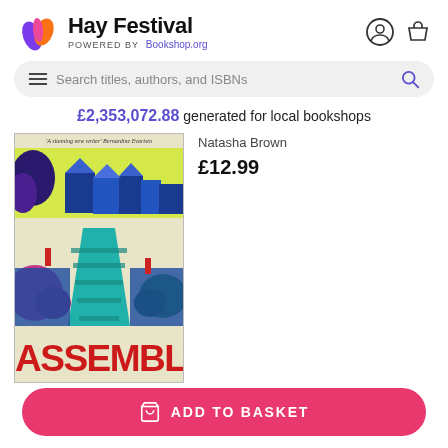Hay Festival — POWERED BY Bookshop.org
£2,353,072.88 generated for local bookshops
[Figure (photo): Book cover of 'Assembly' by Natasha Brown. Cover shows a psychedelic blue-toned image of a path leading to English country houses. Top reads 'A stunning new writer' Bernardine Evaristo. Bottom has bold red text 'ASSEMBLY'.]
Natasha Brown
£12.99
ADD TO BASKET